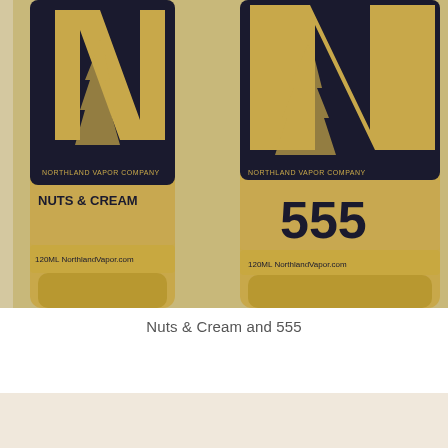[Figure (photo): Two bottles of Northland Vapor Company e-liquid side by side on a light wood surface. Left bottle is labeled 'NUTS & CREAM' and right bottle is labeled '555'. Both are 120ML bottles with gold/amber colored liquid and distinctive black and gold labels featuring a large 'N' with a pine tree silhouette.]
Nuts & Cream and 555